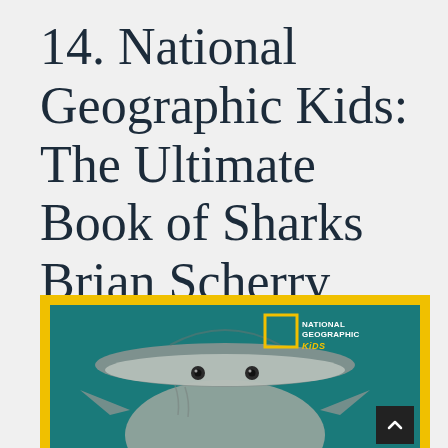14. National Geographic Kids: The Ultimate Book of Sharks Brian Scherry
[Figure (photo): Book cover of National Geographic Kids: The Ultimate Book of Sharks with yellow border, teal background, and a hammerhead shark viewed from below. National Geographic Kids logo in top right corner.]